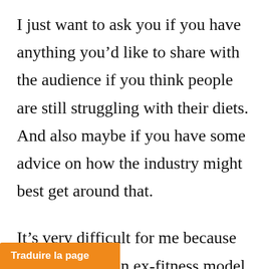I just want to ask you if you have anything you'd like to share with the audience if you think people are still struggling with their diets. And also maybe if you have some advice on how the industry might best get around that.
It's very difficult for me because I'm not really an ex-fitness model. It's hard for me to relate to people who are in that world, even though I know them personally. I know a lot of people in that world, even though they
[Figure (other): Orange translation button overlay reading 'Traduire la page']